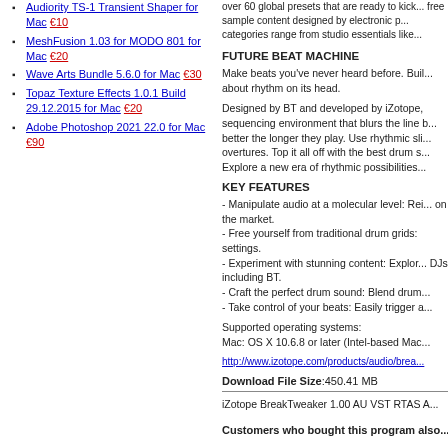Audiority TS-1 Transient Shaper for Mac €10
MeshFusion 1.03 for MODO 801 for Mac €20
Wave Arts Bundle 5.6.0 for Mac €30
Topaz Texture Effects 1.0.1 Build 29.12.2015 for Mac €20
Adobe Photoshop 2021 22.0 for Mac €90
FUTURE BEAT MACHINE
Make beats you've never heard before. Buil... about rhythm on its head.
Designed by BT and developed by iZotope, sequencing environment that blurs the line b... better the longer they play. Use rhythmic sli... overtures. Top it all off with the best drum s... Explore a new era of rhythmic possibilities...
KEY FEATURES
- Manipulate audio at a molecular level: Rei... on the market.
- Free yourself from traditional drum grids: settings.
- Experiment with stunning content: Explor... DJs, including BT.
- Craft the perfect drum sound: Blend drum...
- Take control of your beats: Easily trigger a...
Supported operating systems:
Mac: OS X 10.6.8 or later (Intel-based Mac...
http://www.izotope.com/products/audio/brea...
Download File Size:450.41 MB
iZotope BreakTweaker 1.00 AU VST RTAS A...
Customers who bought this program also...